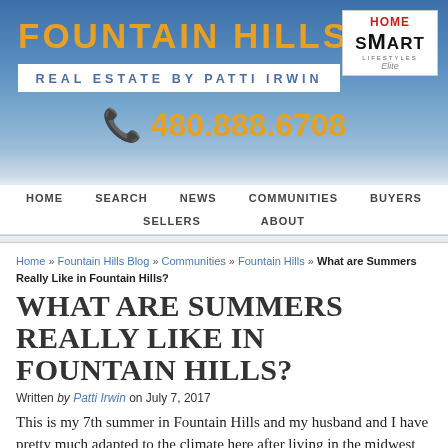FOUNTAIN HILLS — REAL ESTATE BY PATTI IRWIN — HomeSmart Lifestyles Elite — 480.888.6708
HOME  SEARCH  NEWS  COMMUNITIES  BUYERS  SELLERS  ABOUT
Home » Fountain Hills Blog » Communities » Fountain Hills » What are Summers Really Like in Fountain Hills?
WHAT ARE SUMMERS REALLY LIKE IN FOUNTAIN HILLS?
Written by Patti Irwin on July 7, 2017
This is my 7th summer in Fountain Hills and my husband and I have pretty much adapted to the climate here after living in the midwest for many years and truthfully I can say it isn't so bad. It doesn't matter if it is 100, 110 or 113, it all feels the same and it is...